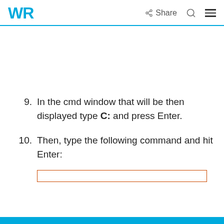WR | Share
In the cmd window that will be then displayed type C: and press Enter.
Then, type the following command and hit Enter: